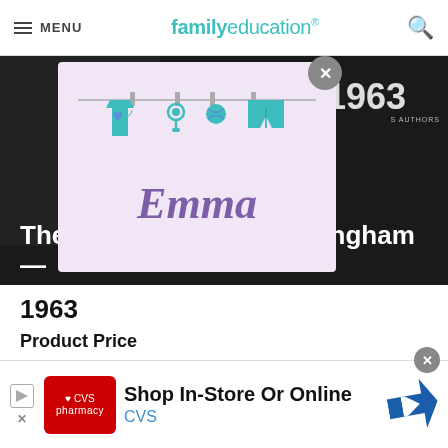MENU | familyeducation
[Figure (illustration): Baby clothing items (onesie, pacifier, ball, pants) hanging on a clothesline above the name 'Emma' in purple cursive script, on a lavender background — popup/modal overlay with a close button]
The Watsons Go to Birmingham — 1963
Product Price
$7.99
This middle-grade novel is narrated by 9-year-old Kenny — the younger brother in a middle-class African-American family from Michigan. Kenny's older brother,
[Figure (infographic): CVS Pharmacy advertisement banner — Shop In-Store Or Online, CVS logo in red, blue directional sign icon]